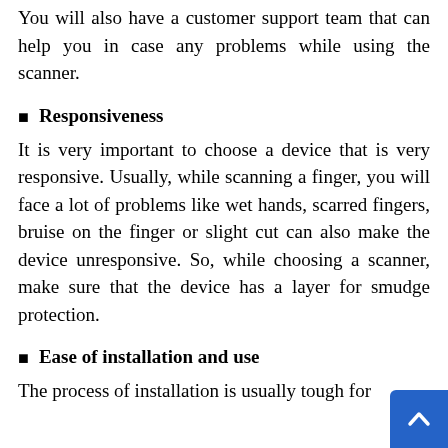You will also have a customer support team that can help you in case any problems while using the scanner.
Responsiveness
It is very important to choose a device that is very responsive. Usually, while scanning a finger, you will face a lot of problems like wet hands, scarred fingers, bruise on the finger or slight cut can also make the device unresponsive. So, while choosing a scanner, make sure that the device has a layer for smudge protection.
Ease of installation and use
The process of installation is usually tough for